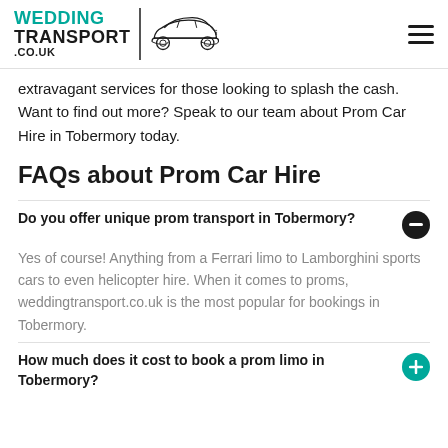WEDDING TRANSPORT .CO.UK [logo with car]
extravagant services for those looking to splash the cash. Want to find out more? Speak to our team about Prom Car Hire in Tobermory today.
FAQs about Prom Car Hire
Do you offer unique prom transport in Tobermory?
Yes of course! Anything from a Ferrari limo to Lamborghini sports cars to even helicopter hire. When it comes to proms, weddingtransport.co.uk is the most popular for bookings in Tobermory.
How much does it cost to book a prom limo in Tobermory?